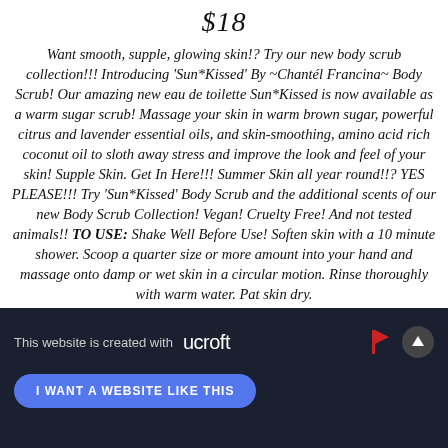$18
Want smooth, supple, glowing skin!? Try our new body scrub collection!!! Introducing 'Sun*Kissed' By ~Chantél Francina~ Body Scrub! Our amazing new eau de toilette Sun*Kissed is now available as a warm sugar scrub! Massage your skin in warm brown sugar, powerful citrus and lavender essential oils, and skin-smoothing, amino acid rich coconut oil to sloth away stress and improve the look and feel of your skin! Supple Skin. Get In Here!!! Summer Skin all year round!!? YES PLEASE!!! Try 'Sun*Kissed' Body Scrub and the additional scents of our new Body Scrub Collection! Vegan! Cruelty Free! And not tested animals!! TO USE: Shake Well Before Use! Soften skin with a 10 minute shower. Scoop a quarter size or more amount into your hand and massage onto damp or wet skin in a circular motion. Rinse thoroughly with warm water. Pat skin dry.
This website is created with ucraft | I WANT A WEBSITE LIKE THIS